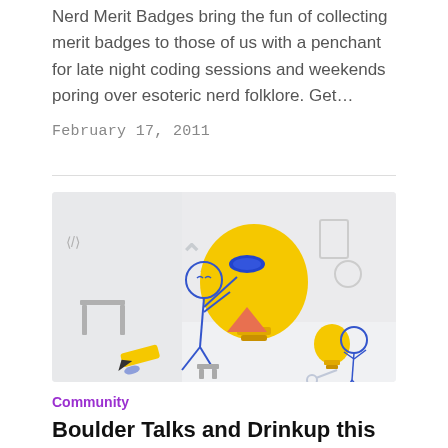Nerd Merit Badges bring the fun of collecting merit badges to those of us with a penchant for late night coding sessions and weekends poring over esoteric nerd folklore. Get…
February 17, 2011
[Figure (illustration): Whimsical blue line-art illustration showing cartoon stick-figure characters interacting with large yellow lightbulb ideas and various tech/creativity objects on a light grey background.]
Community
Boulder Talks and Drinkup this Thursday, Feb 10